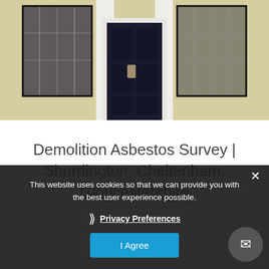[Figure (photo): Photo of a building entrance with a dark navy/black door, white/cream pilasters, and black window frames with a yellow-cream facade visible]
Demolition Asbestos Survey | Shurdington, Cheltenham, Gloucestershire
This website uses cookies so that we can provide you with the best user experience possible.
Privacy Preferences
I Agree